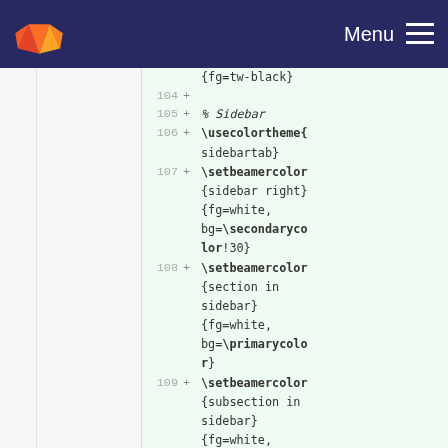GitLab logo | Menu
{fg=tw-black}
104 +
105 + % Sidebar
106 + \usecolortheme{sidebartab}
107 + \setbeamercolor{sidebar right}{fg=white, bg=\secondarycolor!30}
108 + \setbeamercolor{section in sidebar}{fg=white, bg=\primarycolor}
109 + \setbeamercolor{subsection in sidebar}{fg=white, bg=...}